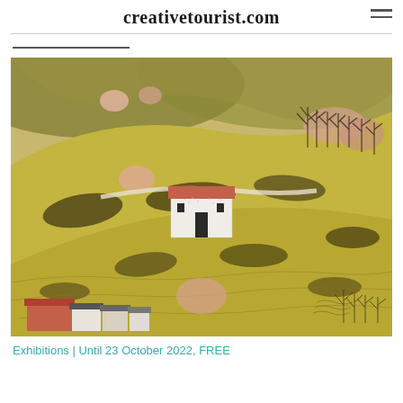creativetourist.com
[Figure (illustration): Folk art style painting of rolling golden-green hills with a white farmhouse with a red roof in the center. Dark tree silhouettes on the hilltops. Pink rounded tree shapes. Small village with white and terracotta buildings at the bottom. Stylized landscape with gestural marks suggesting fields and valleys.]
Exhibitions | Until 23 October 2022, FREE